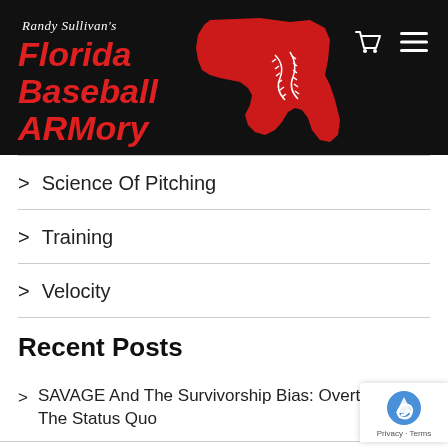[Figure (logo): Randy Sullivan's Florida Baseball ARMory logo with red Florida state shape and baseball stitching on black background]
> Science Of Pitching
> Training
> Velocity
Recent Posts
> SAVAGE And The Survivorship Bias: Overthrow The Status Quo